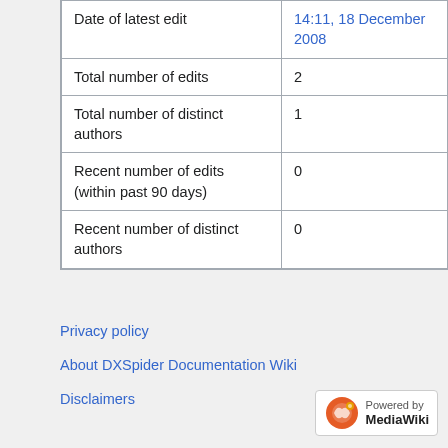| Date of latest edit | 14:11, 18 December 2008 |
| Total number of edits | 2 |
| Total number of distinct authors | 1 |
| Recent number of edits (within past 90 days) | 0 |
| Recent number of distinct authors | 0 |
Privacy policy
About DXSpider Documentation Wiki
Disclaimers